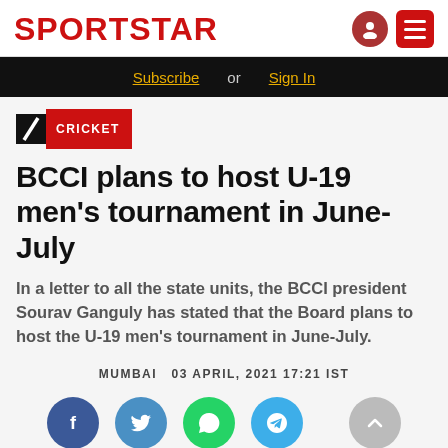SPORTSTAR
Subscribe or Sign In
CRICKET
BCCI plans to host U-19 men's tournament in June-July
In a letter to all the state units, the BCCI president Sourav Ganguly has stated that the Board plans to host the U-19 men's tournament in June-July.
MUMBAI  03 APRIL, 2021 17:21 IST
[Figure (other): Social sharing buttons: Facebook, Twitter, WhatsApp, Telegram, and scroll-up button]
[Figure (photo): Photo of a person, partially visible at bottom of page]